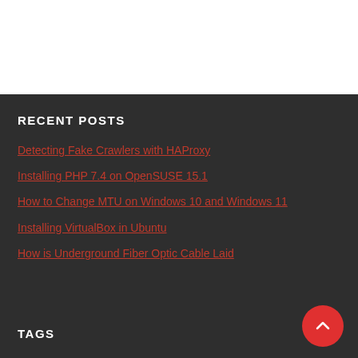RECENT POSTS
Detecting Fake Crawlers with HAProxy
Installing PHP 7.4 on OpenSUSE 15.1
How to Change MTU on Windows 10 and Windows 11
Installing VirtualBox in Ubuntu
How is Underground Fiber Optic Cable Laid
TAGS